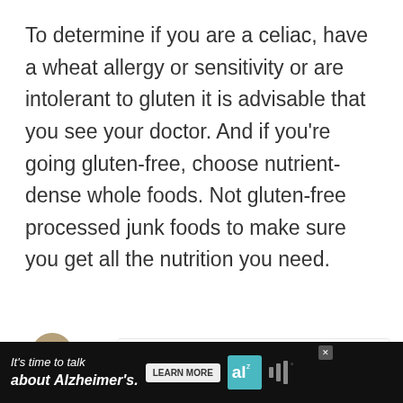To determine if you are a celiac, have a wheat allergy or sensitivity or are intolerant to gluten it is advisable that you see your doctor. And if you're going gluten-free, choose nutrient-dense whole foods. Not gluten-free processed junk foods to make sure you get all the nutrition you need.
[Figure (other): Social interaction bar with heart/like button showing count of 1, and share button]
[Figure (other): Advertisement banner: It's time to talk about Alzheimer's. with Learn More button and Alzheimer's Association logo]